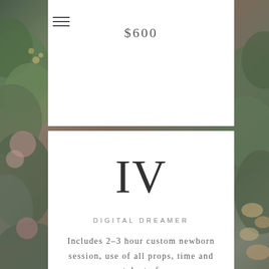$600
IV
DIGITAL DREAMER
Includes 2–3 hour custom newborn session, use of all props, time and talent of